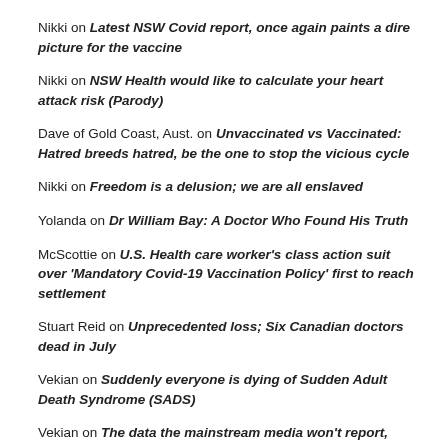Nikki on Latest NSW Covid report, once again paints a dire picture for the vaccine
Nikki on NSW Health would like to calculate your heart attack risk (Parody)
Dave of Gold Coast, Aust. on Unvaccinated vs Vaccinated: Hatred breeds hatred, be the one to stop the vicious cycle
Nikki on Freedom is a delusion; we are all enslaved
Yolanda on Dr William Bay: A Doctor Who Found His Truth
McScottie on U.S. Health care worker's class action suit over 'Mandatory Covid-19 Vaccination Policy' first to reach settlement
Stuart Reid on Unprecedented loss; Six Canadian doctors dead in July
Vekian on Suddenly everyone is dying of Sudden Adult Death Syndrome (SADS)
Vekian on The data the mainstream media won't report, only one